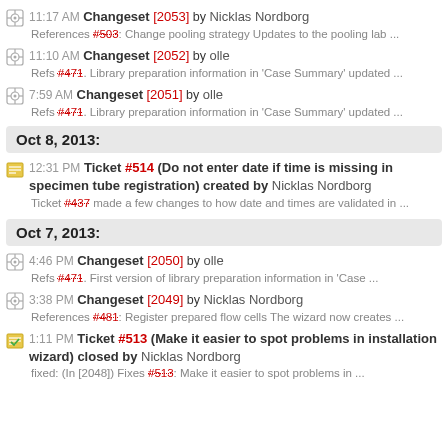11:17 AM Changeset [2053] by Nicklas Nordborg
References #503: Change pooling strategy Updates to the pooling lab ...
11:10 AM Changeset [2052] by olle
Refs #471. Library preparation information in 'Case Summary' updated ...
7:59 AM Changeset [2051] by olle
Refs #471. Library preparation information in 'Case Summary' updated ...
Oct 8, 2013:
12:31 PM Ticket #514 (Do not enter date if time is missing in specimen tube registration) created by Nicklas Nordborg
Ticket #437 made a few changes to how date and times are validated in ...
Oct 7, 2013:
4:46 PM Changeset [2050] by olle
Refs #471. First version of library preparation information in 'Case ...
3:38 PM Changeset [2049] by Nicklas Nordborg
References #481: Register prepared flow cells The wizard now creates ...
1:11 PM Ticket #513 (Make it easier to spot problems in installation wizard) closed by Nicklas Nordborg
fixed: (In [2048]) Fixes #513: Make it easier to spot problems in ...